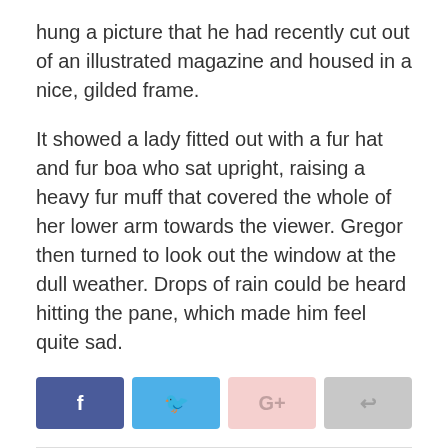hung a picture that he had recently cut out of an illustrated magazine and housed in a nice, gilded frame.
It showed a lady fitted out with a fur hat and fur boa who sat upright, raising a heavy fur muff that covered the whole of her lower arm towards the viewer. Gregor then turned to look out the window at the dull weather. Drops of rain could be heard hitting the pane, which made him feel quite sad.
[Figure (infographic): Social media sharing buttons: Facebook (dark blue), Twitter (light blue), Google+ (light pink), Share (gray)]
Related Posts
[Figure (photo): Partially visible image placeholder, light gray background]